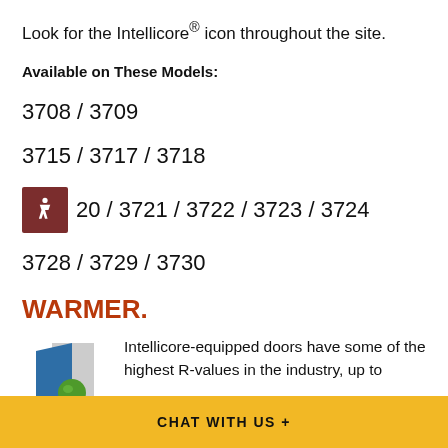Look for the Intellicore® icon throughout the site.
Available on These Models:
3708 / 3709
3715 / 3717 / 3718
3720 / 3721 / 3722 / 3723 / 3724
3728 / 3729 / 3730
WARMER.
[Figure (logo): Intellicore logo: blue and grey geometric door panel shape with a green sphere/globe in front]
Intellicore-equipped doors have some of the highest R-values in the industry, up to
CHAT WITH US +